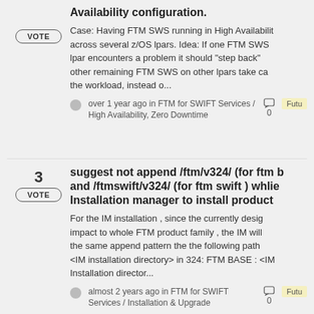Availability configuration.
Case: Having FTM SWS running in High Availability across several z/OS lpars. Idea: If one FTM SWS lpar encounters a problem it should "step back" other remaining FTM SWS on other lpars take ca the workload, instead o...
over 1 year ago in FTM for SWIFT Services / High Availability, Zero Downtime
0
Futu
suggest not append /ftm/v324/ (for ftm b and /ftmswift/v324/ (for ftm swift ) whlie Installation manager to install product
For the IM installation , since the currently desig impact to whole FTM product family , the IM will the same append pattern the the following path <IM installation directory> in 324: FTM BASE : <In Installation director...
almost 2 years ago in FTM for SWIFT Services / Installation & Upgrade
0
Futu